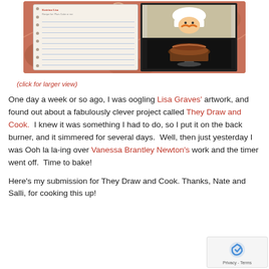[Figure (illustration): Illustrated recipe notepad card with handwritten text and decorative chef figure card with baked goods, on a warm terracotta/floral background.]
(click for larger view)
One day a week or so ago, I was oogling Lisa Graves' artwork, and found out about a fabulously clever project called They Draw and Cook.  I knew it was something I had to do, so I put it on the back burner, and it simmered for several days.  Well, then just yesterday I was Ooh la la-ing over Vanessa Brantley Newton's work and the timer went off.  Time to bake!
Here's my submission for They Draw and Cook.  Thanks, Nate and Salli, for cooking this up!